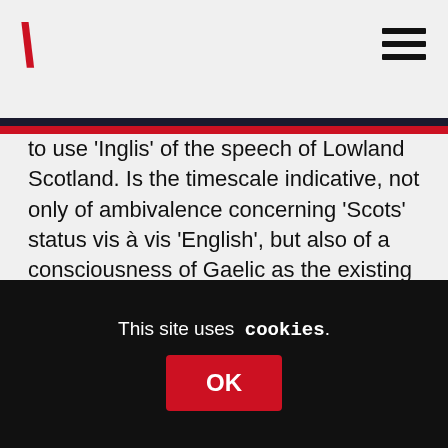/ [logo] [hamburger menu]
to use 'Inglis' of the speech of Lowland Scotland. Is the timescale indicative, not only of ambivalence concerning 'Scots' status vis à vis 'English', but also of a consciousness of Gaelic as the existing 'lingua Scotica', and of this as a reality or obstacle only gradually overcome? Certainly there is a sense of a 'changing of the guard' in the way in which the shifts in the terms applied to each language mesh chronologically, with ca 1500 as the point of transition. A passage in Blind Harry's Wallace, apparently adopting the perspective of the point of composition ca 1476 rather than of the War of Independence, links Gaelic
This site uses cookies.
OK